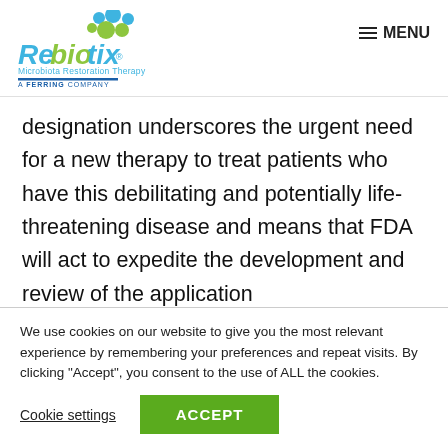[Figure (logo): Rebiotix logo with blue/green bubbles, 'Microbiota Restoration Therapy' tagline, and 'A FERRING COMPANY' text]
≡ MENU
designation underscores the urgent need for a new therapy to treat patients who have this debilitating and potentially life-threatening disease and means that FDA will act to expedite the development and review of the application
We use cookies on our website to give you the most relevant experience by remembering your preferences and repeat visits. By clicking "Accept", you consent to the use of ALL the cookies.
Cookie settings
ACCEPT